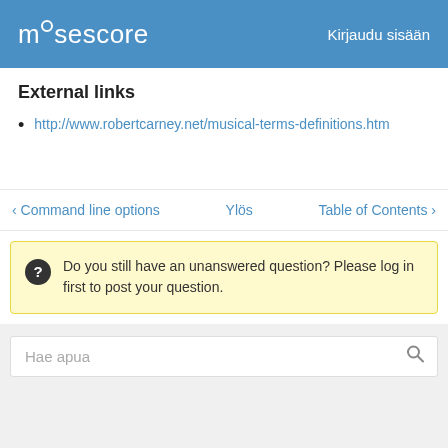mûsescore   Kirjaudu sisään
External links
http://www.robertcarney.net/musical-terms-definitions.htm
‹ Command line options   Ylös   Table of Contents ›
Do you still have an unanswered question? Please log in first to post your question.
Hae apua